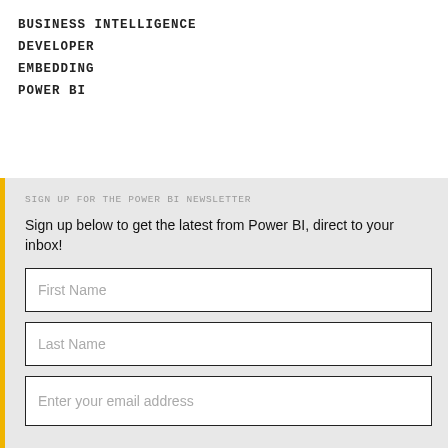BUSINESS INTELLIGENCE
DEVELOPER
EMBEDDING
POWER BI
SIGN UP FOR THE POWER BI NEWSLETTER
Sign up below to get the latest from Power BI, direct to your inbox!
First Name
Last Name
Enter your email address